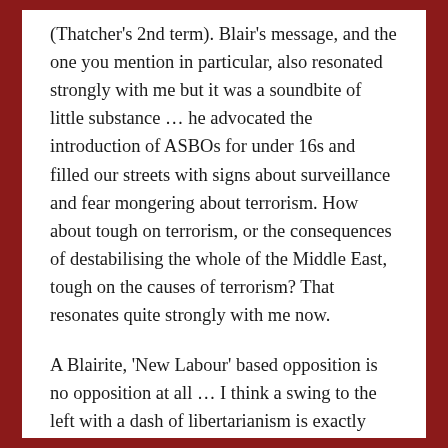(Thatcher's 2nd term). Blair's message, and the one you mention in particular, also resonated strongly with me but it was a soundbite of little substance … he advocated the introduction of ASBOs for under 16s and filled our streets with signs about surveillance and fear mongering about terrorism. How about tough on terrorism, or the consequences of destabilising the whole of the Middle East, tough on the causes of terrorism? That resonates quite strongly with me now.
A Blairite, 'New Labour' based opposition is no opposition at all … I think a swing to the left with a dash of libertarianism is exactly what we need and truly believe it would win votes … I hope that it is Corbyn carrying out the purges and not one of the other hypocritical, self-serving excuses